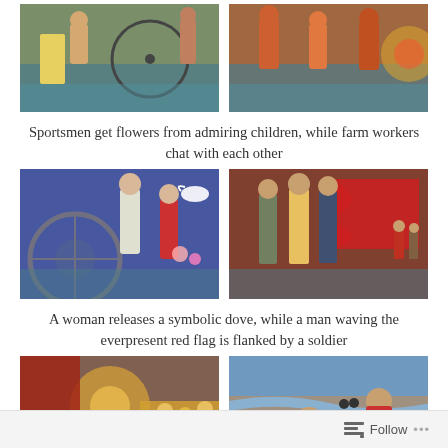[Figure (photo): Mosaic mural showing sportsmen with bicycles and children offering flowers]
[Figure (photo): Mosaic mural showing farm workers chatting with each other]
Sportsmen get flowers from admiring children, while farm workers chat with each other
[Figure (photo): Mosaic mural showing a woman releasing a symbolic dove]
[Figure (photo): Mosaic mural showing a man waving a red flag flanked by a soldier]
A woman releases a symbolic dove, while a man waving the everpresent red flag is flanked by a soldier
[Figure (photo): Mosaic mural with red flag and sunburst pattern with harvest theme]
[Figure (photo): Painting of people sitting on a beach]
Follow